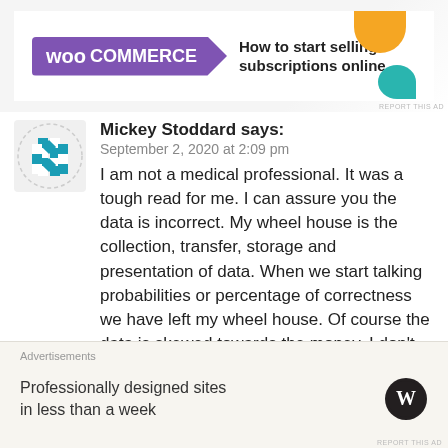[Figure (screenshot): WooCommerce advertisement banner: purple WooCommerce logo badge on left, text 'How to start selling subscriptions online' on right, with orange and teal decorative blobs in corner.]
Mickey Stoddard says:
September 2, 2020 at 2:09 pm
I am not a medical professional. It was a tough read for me. I can assure you the data is incorrect. My wheel house is the collection, transfer, storage and presentation of data. When we start talking probabilities or percentage of correctness we have left my wheel house. Of course the data is skewed towards the money. I don't pay much attention to others
[Figure (screenshot): WordPress advertisement: 'Professionally designed sites in less than a week' with WordPress logo on right, on beige/cream background.]